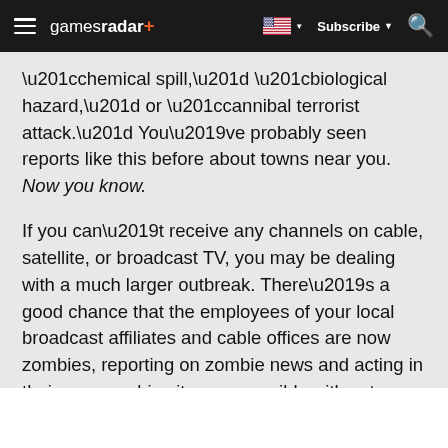gamesradar+ | Subscribe | Search
“chemical spill,” “biological hazard,” or “cannibal terrorist attack.” You’ve probably seen reports like this before about towns near you. Now you know.
If you can’t receive any channels on cable, satellite, or broadcast TV, you may be dealing with a much larger outbreak. There’s a good chance that the employees of your local broadcast affiliates and cable offices are now zombies, reporting on zombie news and acting in their own zombie sitcoms, possibly with cute names like “Everybody Loves Raymond’s Brains” or “Marinated with Children.” Fact: zombies are very creative when left to their own devices, and enjoy dry humor.